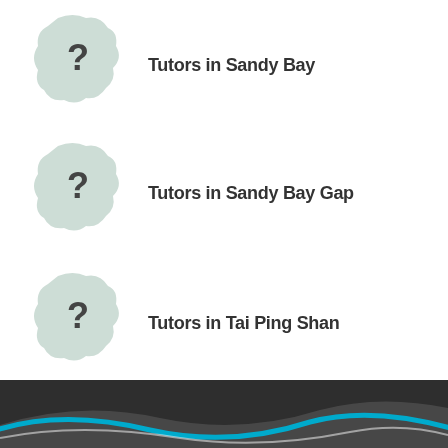Tutors in Sandy Bay
Tutors in Sandy Bay Gap
Tutors in Tai Ping Shan